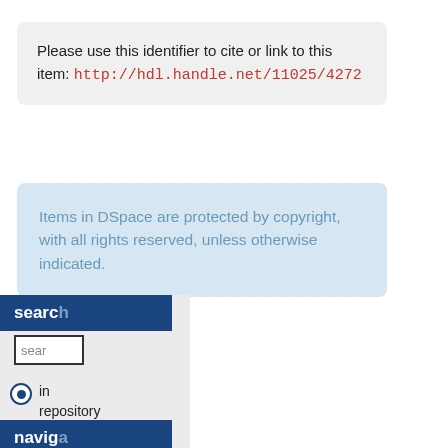Please use this identifier to cite or link to this item: http://hdl.handle.net/11025/4272
Items in DSpace are protected by copyright, with all rights reserved, unless otherwise indicated.
search
sear
in repository
in collection
navig